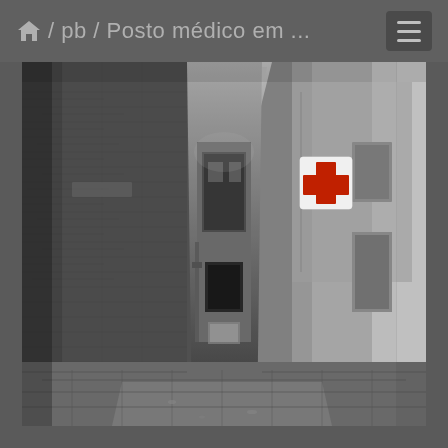/ pb / Posto médico em ...
[Figure (photo): Black and white photograph of a narrow urban alley or calle between tall building walls, showing worn brick on the left, plastered walls on the right, tiled paving stones on the ground, and a red medical cross sign on the upper right wall. The alley leads to a recessed building facade in the background. The image is desaturated except for the red cross.]